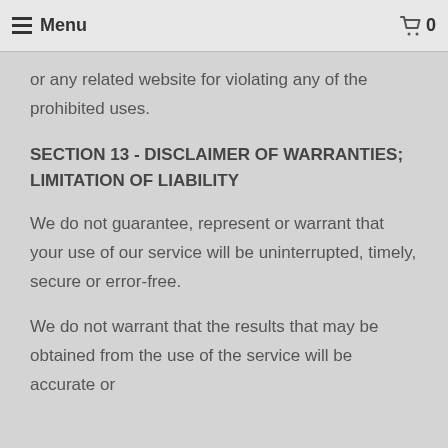Menu  0
or any related website for violating any of the prohibited uses.
SECTION 13 - DISCLAIMER OF WARRANTIES; LIMITATION OF LIABILITY
We do not guarantee, represent or warrant that your use of our service will be uninterrupted, timely, secure or error-free.
We do not warrant that the results that may be obtained from the use of the service will be accurate or